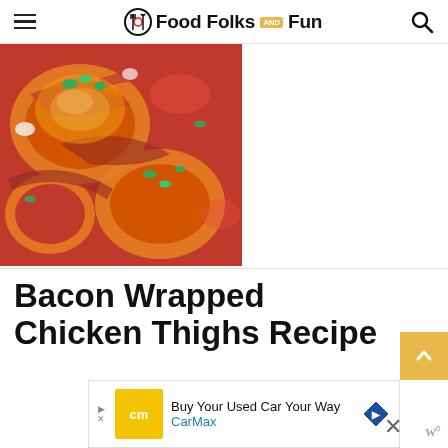Food Folks and Fun
[Figure (photo): Close-up photo of bacon wrapped chicken thighs with red sauce and chopped parsley garnish]
Bacon Wrapped Chicken Thighs Recipe
Buy Your Used Car Your Way CarMax